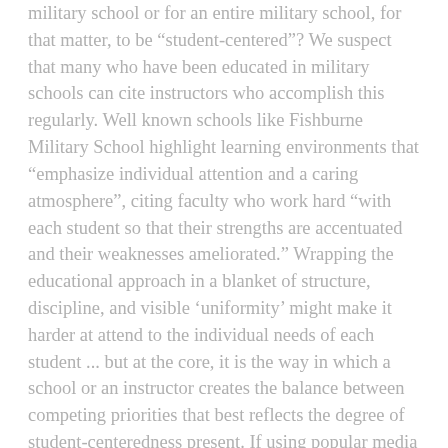military school or for an entire military school, for that matter, to be “student-centered”? We suspect that many who have been educated in military schools can cite instructors who accomplish this regularly. Well known schools like Fishburne Military School highlight learning environments that “emphasize individual attention and a caring atmosphere”, citing faculty who work hard “with each student so that their strengths are accentuated and their weaknesses ameliorated.” Wrapping the educational approach in a blanket of structure, discipline, and visible ‘uniformity’ might make it harder at attend to the individual needs of each student ... but at the core, it is the way in which a school or an instructor creates the balance between competing priorities that best reflects the degree of student-centeredness present. If using popular media and literature as an indicator, one would likely make the assumption that tension between following the dictates of military discipline and hierarchy